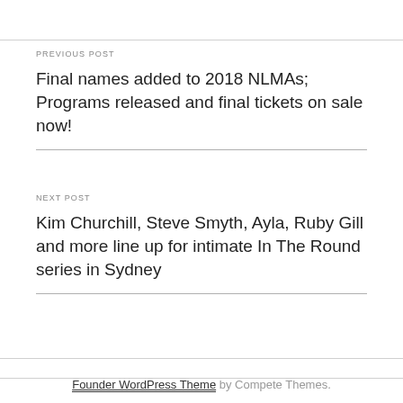PREVIOUS POST
Final names added to 2018 NLMAs; Programs released and final tickets on sale now!
NEXT POST
Kim Churchill, Steve Smyth, Ayla, Ruby Gill and more line up for intimate In The Round series in Sydney
Founder WordPress Theme by Compete Themes.